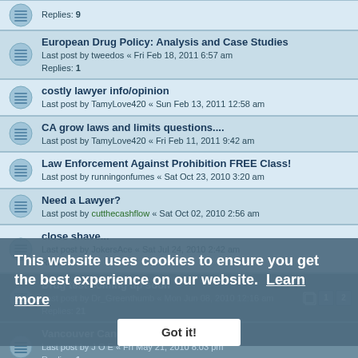Replies: 9
European Drug Policy: Analysis and Case Studies
Last post by tweedos « Fri Feb 18, 2011 6:57 am
Replies: 1
costly lawyer info/opinion
Last post by TamyLove420 « Sun Feb 13, 2011 12:58 am
CA grow laws and limits questions....
Last post by TamyLove420 « Fri Feb 11, 2011 9:42 am
Law Enforcement Against Prohibition FREE Class!
Last post by runningonfumes « Sat Oct 23, 2010 3:20 am
Need a Lawyer?
Last post by cutthecashflow « Sat Oct 02, 2010 2:56 am
close shave...
Last post by JokersAce « Sat Jul 24, 2010 2:42 am
Replies: 3
Drug test coming up soon
Last post by Dr_Greenthumb « Mon Jun 08, 2010 12:16 am
Replies: 21
Vancouver Canucks jerseys
Last post by J O E « Fri May 21, 2010 8:03 pm
Replies: 1
Marc Emery LIVE interview : May 20 @9PM Central
Last post by Bubbles « Fri May 21, 2010 1:19 am
Replies: 6
This website uses cookies to ensure you get the best experience on our website. Learn more
Got it!